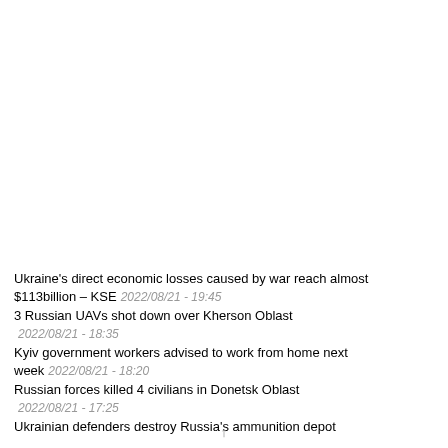Ukraine's direct economic losses caused by war reach almost $113billion – KSE  2022/08/21 - 19:45
3 Russian UAVs shot down over Kherson Oblast  2022/08/21 - 18:35
Kyiv government workers advised to work from home next week  2022/08/21 - 18:20
Russian forces killed 4 civilians in Donetsk Oblast  2022/08/21 - 17:25
Ukrainian defenders destroy Russia's ammunition depot